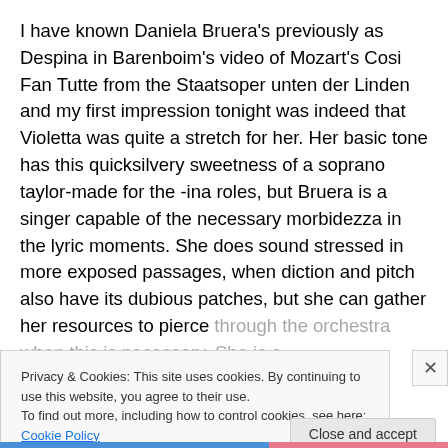I have known Daniela Bruera's previously as Despina in Barenboim's video of Mozart's Cosi Fan Tutte from the Staatsoper unten der Linden and my first impression tonight was indeed that Violetta was quite a stretch for her. Her basic tone has this quicksilvery sweetness of a soprano taylor-made for the -ina roles, but Bruera is a singer capable of the necessary morbidezza in the lyric moments. She does sound stressed in more exposed passages, when diction and pitch also have its dubious patches, but she can gather her resources to pierce through the orchestra when this is necessary. She is a
Privacy & Cookies: This site uses cookies. By continuing to use this website, you agree to their use.
To find out more, including how to control cookies, see here: Cookie Policy
Close and accept